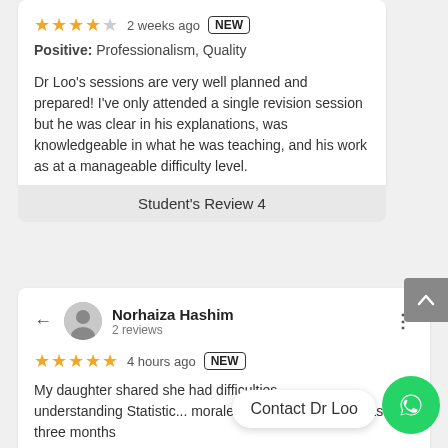★★★★☆ 2 weeks ago NEW
Positive: Professionalism, Quality
Dr Loo's sessions are very well planned and prepared! I've only attended a single revision session but he was clear in his explanations, was knowledgeable in what he was teaching, and his work as at a manageable difficulty level.
Student's Review 4
Norhaiza Hashim
2 reviews
★★★★★ 4 hours ago NEW
My daughter shared she had difficulties understanding Statistics... morale was affected and it was three months...